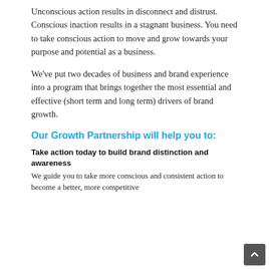Unconscious action results in disconnect and distrust. Conscious inaction results in a stagnant business. You need to take conscious action to move and grow towards your purpose and potential as a business.
We've put two decades of business and brand experience into a program that brings together the most essential and effective (short term and long term) drivers of brand growth.
Our Growth Partnership will help you to:
Take action today to build brand distinction and awareness
We guide you to take more conscious and consistent action to become a better, more competitive...